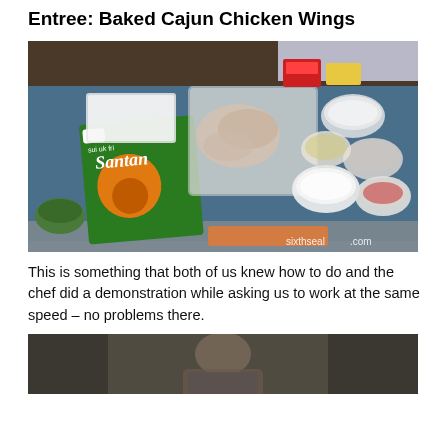Entree: Baked Cajun Chicken Wings
[Figure (photo): A blue cafeteria tray with ingredients for Baked Cajun Chicken Wings: a Santan coconut cream packet, a plastic container of raw chicken wings, small clear cups with various sauces and seasonings, and other condiment packets. Watermark reads sixthseal.com.]
This is something that both of us knew how to do and the chef did a demonstration while asking us to work at the same speed – no problems there.
[Figure (photo): Partial view of a second photo showing a person (chef or participant) in a kitchen setting, cropped at bottom of page.]